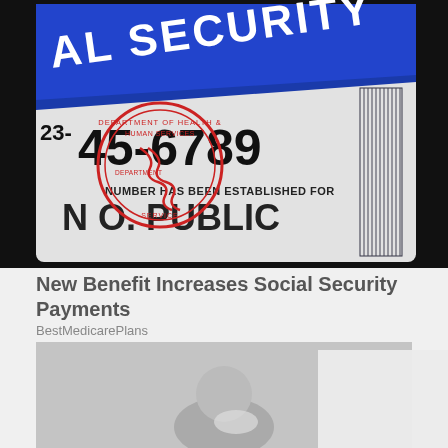[Figure (photo): Close-up photo of a Social Security card showing partial number 23-45-6789, a circular Department of Health and Human Services seal in red, text 'NUMBER HAS BEEN ESTABLISHED FOR' and 'N O. PUBLIC', on a dark background]
New Benefit Increases Social Security Payments
BestMedicarePlans
[Figure (photo): Photo of a person, partially obscured by a cookie consent dialog box]
By continuing to use the site, you agree to the use of cookies. More information
Accept